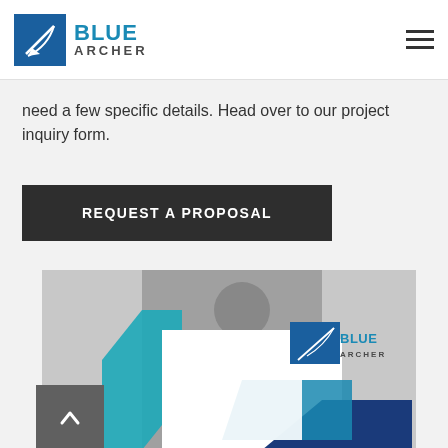Blue Archer
need a few specific details. Head over to our project inquiry form.
REQUEST A PROPOSAL
[Figure (photo): Blue Archer brochure/proposal document with blue geometric design and photo of person writing, featuring Blue Archer logo]
[Figure (other): Back to top button with upward chevron arrow]